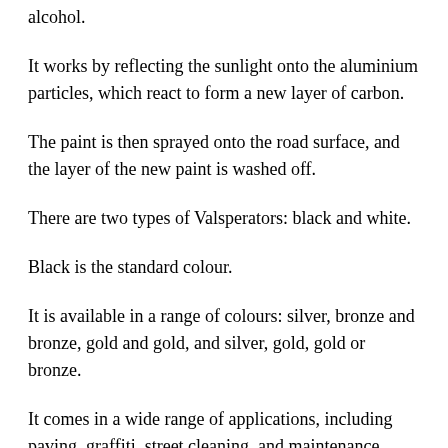alcohol.
It works by reflecting the sunlight onto the aluminium particles, which react to form a new layer of carbon.
The paint is then sprayed onto the road surface, and the layer of the new paint is washed off.
There are two types of Valsperators: black and white.
Black is the standard colour.
It is available in a range of colours: silver, bronze and bronze, gold and gold, and silver, gold, gold or bronze.
It comes in a wide range of applications, including paving, graffiti, street cleaning, and maintenance